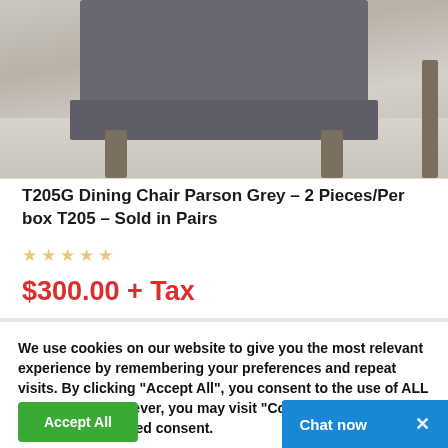[Figure (photo): Partial view of grey upholstered dining chair legs on wood-look flooring]
T205G Dining Chair Parson Grey – 2 Pieces/Per box T205 – Sold in Pairs
☆☆☆☆☆
$300.00 + Tax
We use cookies on our website to give you the most relevant experience by remembering your preferences and repeat visits. By clicking "Accept All", you consent to the use of ALL the cookies. However, you may visit "Cookie Settings" to provide a controlled consent.
Accept All
Chat now